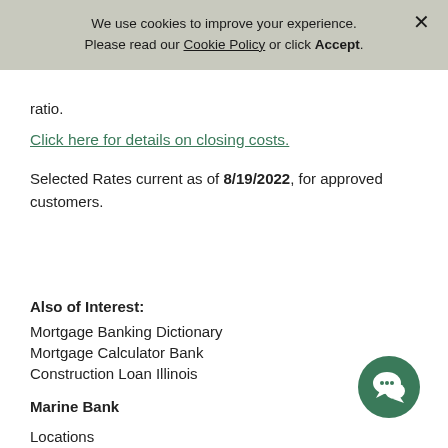We use cookies to improve your experience. Please read our Cookie Policy or click Accept.
ratio.
Click here for details on closing costs.
Selected Rates current as of 8/19/2022, for approved customers.
Also of Interest:
Mortgage Banking Dictionary
Mortgage Calculator Bank
Construction Loan Illinois
Marine Bank
Locations
[Figure (illustration): Green circular chat/messaging icon button in the bottom-right area of the page]